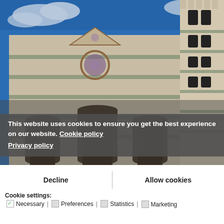[Figure (photo): Photograph of the Florence Cathedral (Duomo di Firenze) facade and Giotto's Campanile bell tower against a blue sky with white clouds, taken from a low angle looking upward.]
This website uses cookies to ensure you get the best experience on our website. Cookie policy
Privacy policy
Decline | Allow cookies
Cookie settings:
☑ Necessary | ☐ Preferences | ☐ Statistics |
☐ Marketing
Going back along the Via dei Calzaiuoli you reach Piazza della Signoria, where simply turning around you the eye comes across each eye on an icon of the city: from the fountain of Neptune to Palazzo Vecchio, to the Loggia dei La...